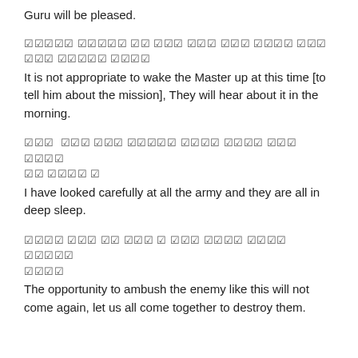Guru will be pleased.
ਸਤਿਗੁਰ ਸੁਤੇ ਕਉ ਜਾਇ ਜਾਇ ਜਾਇ ਜਗਾਵੈ ਨਹੁ ਤਾਉ ਸ਼੍ਹੂਜਾਉ ਸੁਣਾਵੈ॥
It is not appropriate to wake the Master up at this time [to tell him about the mission], They will hear about it in the morning.
ਸਭ ਫੌਜ ਦੇਖ ਲਈਆਂ ਨੀਝ ਲਾਈਆਂ ਸਭ ਸੁੱਤੀ ਕਿ ਟਾਪੂ ॥
I have looked carefully at all the army and they are all in deep sleep.
ਦੁਸ਼ਮਣ ਵੱਢਣ ਦਾ ਮੌਕਾ ਏ ਐਸਾ ਫੇਰ ਨਹੀਂ ਫਿਰਕੇ ਆਵੈ॥
The opportunity to ambush the enemy like this will not come again, let us all come together to destroy them.